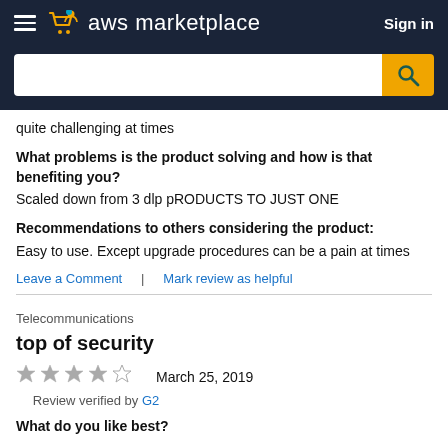aws marketplace | Sign in
quite challenging at times
What problems is the product solving and how is that benefiting you?
Scaled down from 3 dlp pRODUCTS TO JUST ONE
Recommendations to others considering the product:
Easy to use. Except upgrade procedures can be a pain at times
Leave a Comment | Mark review as helpful
Telecommunications
top of security
★★★★☆  March 25, 2019
Review verified by G2
What do you like best?